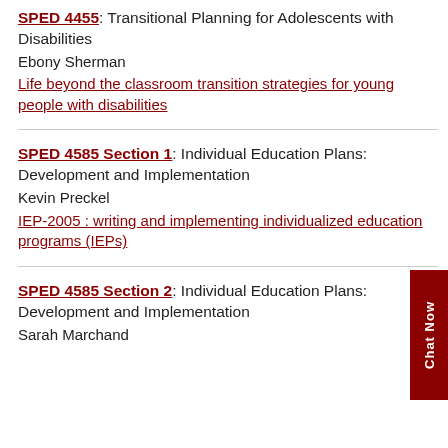SPED 4455: Transitional Planning for Adolescents with Disabilities
Ebony Sherman
Life beyond the classroom transition strategies for young people with disabilities
SPED 4585 Section 1: Individual Education Plans: Development and Implementation
Kevin Preckel
IEP-2005 : writing and implementing individualized education programs (IEPs)
SPED 4585 Section 2: Individual Education Plans: Development and Implementation
Sarah Marchand